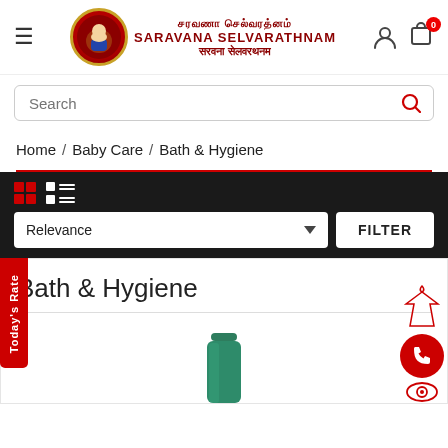[Figure (logo): Saravana Selvarathnam store logo with circular emblem and Tamil/English brand name text]
Search
Home / Baby Care / Bath & Hygiene
Relevance
FILTER
Bath & Hygiene
[Figure (photo): Green bottle product partially visible at bottom of page]
Today's Rate